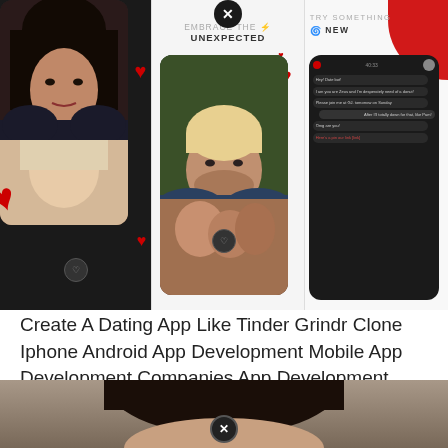[Figure (screenshot): Three mobile app screenshots side by side showing a dating app interface. Left panel (black background): 'MEET OPEN MINDED PEOPLE, INSTANTLY' with a woman's photo. Middle panel: 'EMBRACE THE UNEXPECTED' with a man's photo and red heart. Right panel: 'TRY SOMETHING NEW' with a chat screen interface. Red heart decorations visible. Close icons shown.]
Create A Dating App Like Tinder Grindr Clone Iphone Android App Development Mobile App Development Companies App Development Companies
[Figure (photo): Close-up photo of a woman's face with dark hair from the top of the frame, with a circular close/X icon overlaid at the bottom center of the image.]